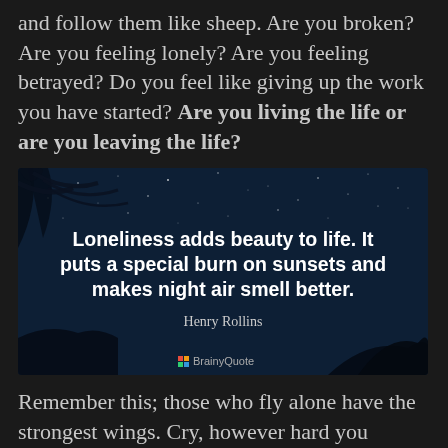and follow them like sheep. Are you broken? Are you feeling lonely? Are you feeling betrayed? Do you feel like giving up the work you have started? Are you living the life or are you leaving the life?
[Figure (illustration): BrainyQuote image with night sky and silhouette background. Bold white text reads: 'Loneliness adds beauty to life. It puts a special burn on sunsets and makes night air smell better.' Attribution: Henry Rollins. BrainyQuote logo at bottom.]
Remember this; those who fly alone have the strongest wings. Cry, however hard you